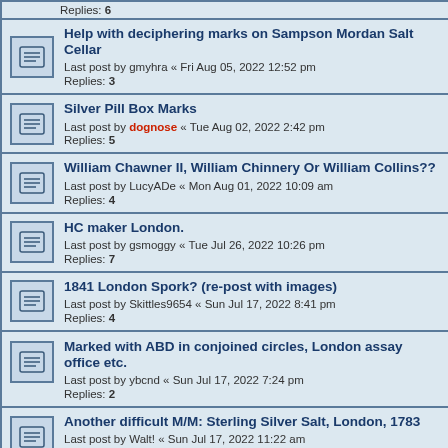Replies: 6
Help with deciphering marks on Sampson Mordan Salt Cellar
Last post by gmyhra « Fri Aug 05, 2022 12:52 pm
Replies: 3
Silver Pill Box Marks
Last post by dognose « Tue Aug 02, 2022 2:42 pm
Replies: 5
William Chawner II, William Chinnery Or William Collins??
Last post by LucyADe « Mon Aug 01, 2022 10:09 am
Replies: 4
HC maker London.
Last post by gsmoggy « Tue Jul 26, 2022 10:26 pm
Replies: 7
1841 London Spork? (re-post with images)
Last post by Skittles9654 « Sun Jul 17, 2022 8:41 pm
Replies: 4
Marked with ABD in conjoined circles, London assay office etc.
Last post by ybcnd « Sun Jul 17, 2022 7:24 pm
Replies: 2
Another difficult M/M: Sterling Silver Salt, London, 1783
Last post by Walt! « Sun Jul 17, 2022 11:22 am
Replies: 2
London 1905 Hastings Souvenir Spoon, but who made it?!
Last post by Walt! « Sun Jul 17, 2022 10:54 am
Replies: 4
Help identifying marks on spoons
Last post by AllSeasons « Fri Jul 08, 2022 10:10 pm
Replies: 4
Snuff Spoon Maker